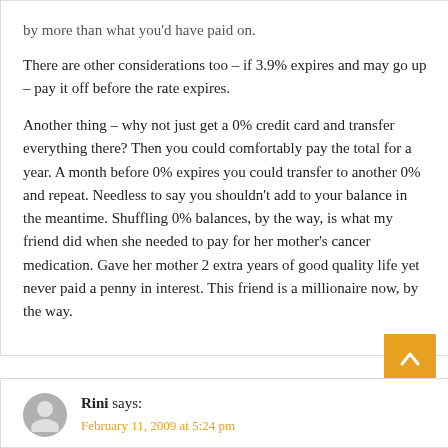by more than what you'd have paid on.
There are other considerations too – if 3.9% expires and may go up – pay it off before the rate expires.
Another thing – why not just get a 0% credit card and transfer everything there? Then you could comfortably pay the total for a year. A month before 0% expires you could transfer to another 0% and repeat. Needless to say you shouldn't add to your balance in the meantime. Shuffling 0% balances, by the way, is what my friend did when she needed to pay for her mother's cancer medication. Gave her mother 2 extra years of good quality life yet never paid a penny in interest. This friend is a millionaire now, by the way.
Rini says:
February 11, 2009 at 5:24 pm